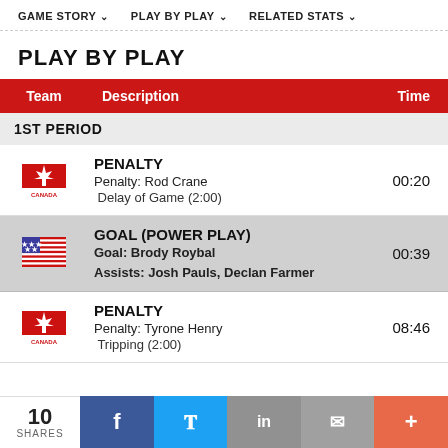GAME STORY  PLAY BY PLAY  RELATED STATS
PLAY BY PLAY
| Team | Description | Time |
| --- | --- | --- |
| 1ST PERIOD |  |  |
| Canada | PENALTY
Penalty: Rod Crane
Delay of Game (2:00) | 00:20 |
| USA | GOAL (POWER PLAY)
Goal: Brody Roybal
Assists: Josh Pauls, Declan Farmer | 00:39 |
| Canada | PENALTY
Penalty: Tyrone Henry
Tripping (2:00) | 08:46 |
10 SHARES